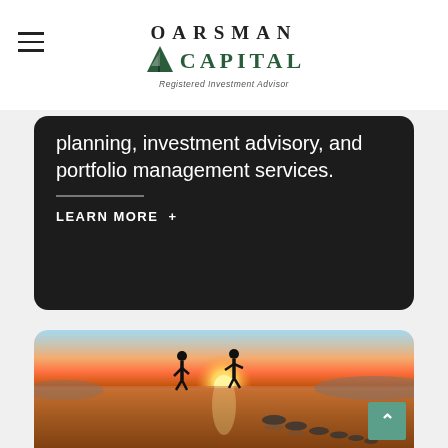[Figure (logo): Oarsman Capital Registered Investment Advisor logo with sailboat icon]
planning, investment advisory, and portfolio management services.
LEARN MORE +
[Figure (photo): Two silhouetted people walking across stepping stones on a beach at sunset with reflections in the wet sand]